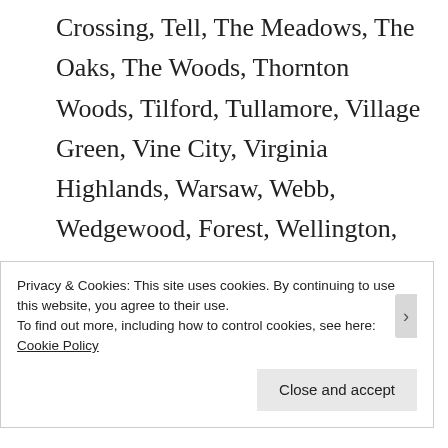Crossing, Tell, The Meadows, The Oaks, The Woods, Thornton Woods, Tilford, Tullamore, Village Green, Vine City, Virginia Highlands, Warsaw, Webb, Wedgewood, Forest, Wellington, West End, West End Park, West Road Acres, Westover Plantation, Westside Hills, Wexwood Glen, Wildwood Springs, Windsor at
Privacy & Cookies: This site uses cookies. By continuing to use this website, you agree to their use.
To find out more, including how to control cookies, see here: Cookie Policy